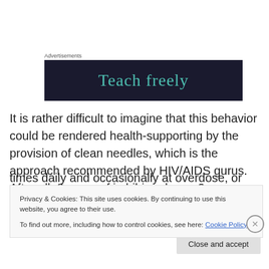Advertisements
[Figure (other): Dark navy advertisement banner with teal text reading 'Teach freely']
It is rather difficult to imagine that this behavior could be rendered health-supporting by the provision of clean needles, which is the approach recommended by HIV/AIDS gurus. After all, 8 years of imbibing drugs, 3 times daily and occasionally at overdose, or near
Privacy & Cookies: This site uses cookies. By continuing to use this website, you agree to their use.
To find out more, including how to control cookies, see here: Cookie Policy
Close and accept